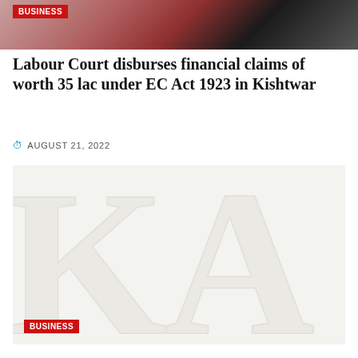BUSINESS
Labour Court disburses financial claims of worth 35 lac under EC Act 1923 in Kishtwar
AUGUST 21, 2022
[Figure (illustration): Large watermark-style letters 'KI' or 'KA' in light grey/cream on a pale background, with a red BUSINESS tag overlay at bottom-left]
BUSINESS